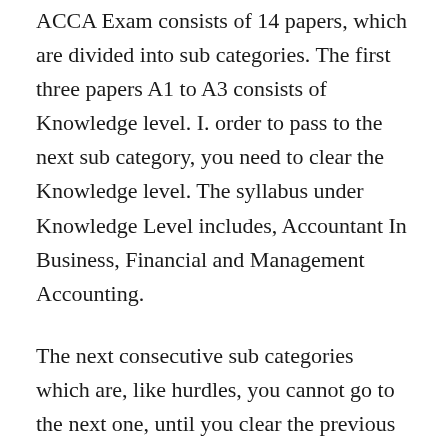ACCA Exam consists of 14 papers, which are divided into sub categories. The first three papers A1 to A3 consists of Knowledge level. I. order to pass to the next sub category, you need to clear the Knowledge level. The syllabus under Knowledge Level includes, Accountant In Business, Financial and Management Accounting.
The next consecutive sub categories which are, like hurdles, you cannot go to the next one, until you clear the previous one.
Skill Level, Essentials Level and the final one is the Optional Level. Altogether makes it up to 14 papers, which you will need to clear with...